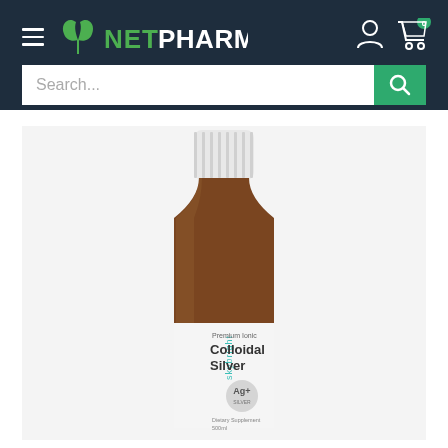[Figure (screenshot): NetPharmacy website header with hamburger menu, logo, search bar, account icon, and cart with 0 items badge]
[Figure (photo): Skybright Premium Ionic Colloidal Silver supplement bottle - amber glass bottle with white cap and white label showing brand name skybright, product name Colloidal Silver, Ag+ symbol, and Dietary Supplement text at bottom]